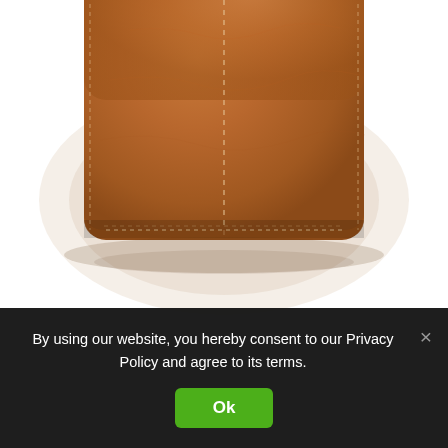[Figure (photo): Close-up of a brown leather bifold wallet with stitched detail and rounded corners, photographed from above showing the top portion]
By using our website, you hereby consent to our Privacy Policy and agree to its terms.
Ok